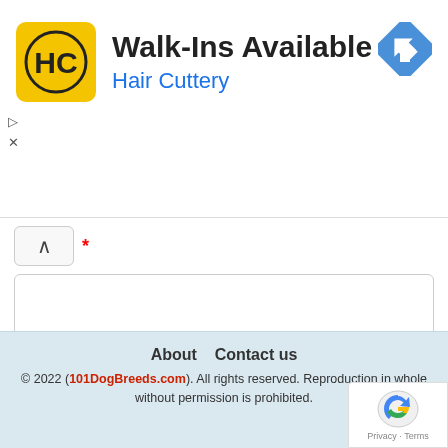[Figure (logo): Hair Cuttery advertisement banner with HC logo, 'Walk-Ins Available' title, 'Hair Cuttery' subtitle in blue, and Google Maps navigation icon]
* (asterisk required field marker)
(empty input box)
Website
(empty input box)
Post Comment
About   Contact us
© 2022 (101DogBreeds.com). All rights reserved. Reproduction in whole without permission is prohibited.